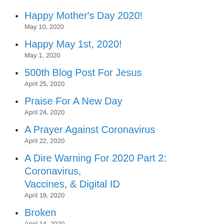Happy Mother's Day 2020!
May 10, 2020
Happy May 1st, 2020!
May 1, 2020
500th Blog Post For Jesus
April 25, 2020
Praise For A New Day
April 24, 2020
A Prayer Against Coronavirus
April 22, 2020
A Dire Warning For 2020 Part 2: Coronavirus, Vaccines, & Digital ID
April 19, 2020
Broken
April 14, 2020
Jesus Lives!